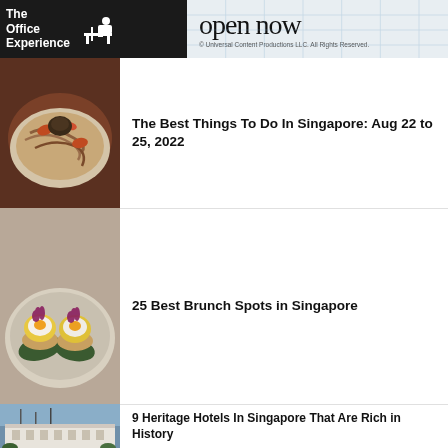[Figure (other): Banner advertisement for 'The Office Experience' with 'open now' text on light blue grid background. Copyright Universal Content Productions LLC.]
[Figure (photo): Photo of Singapore food dish - stir fried noodles with prawns/seafood on a white plate]
The Best Things To Do In Singapore: Aug 22 to 25, 2022
[Figure (photo): Photo of eggs benedict brunch dish with hollandaise sauce topped with purple microgreens on a decorative plate]
25 Best Brunch Spots in Singapore
[Figure (photo): Photo of a white colonial heritage building in Singapore with flagpoles in front]
9 Heritage Hotels In Singapore That Are Rich in History